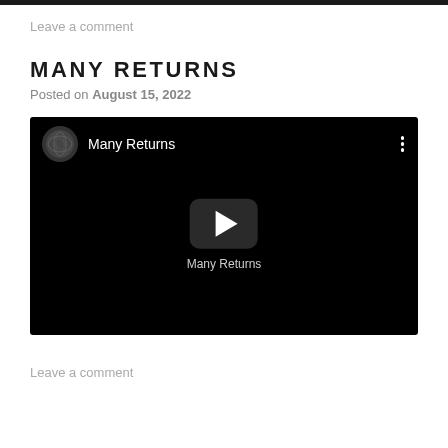Leave a comment
MANY RETURNS
Posted on August 15, 2022
[Figure (screenshot): Embedded YouTube video player showing 'Many Returns' with black background, channel thumbnail, title text, three-dot menu, and centered play button with label 'Many Returns']
Leave a comment